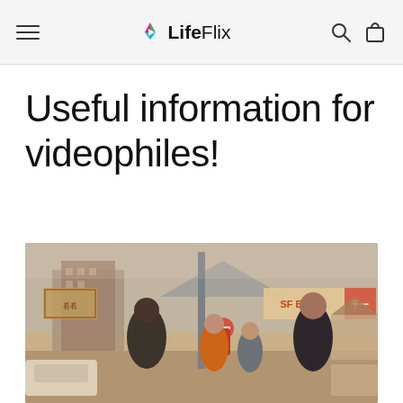LifeFlix
Useful information for videophiles!
[Figure (photo): Vintage photograph of a family of four standing on a street in an Asian city (likely Japan), with billboards and urban scenery in the background. The photo has warm, faded tones typical of 1970s-80s film photography.]